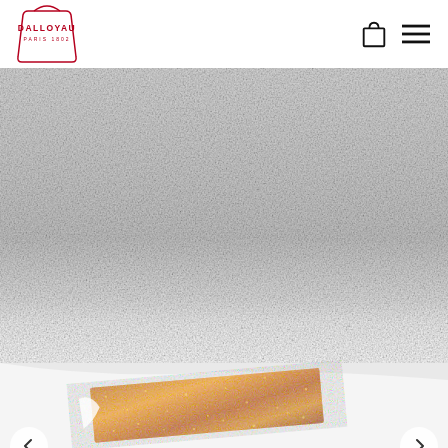[Figure (logo): Dalloyau Paris 1802 logo in red/crimson with a stylized bag outline]
[Figure (photo): Dalloyau website screenshot showing a close-up photo of a textured gray/white stone or concrete background with a gold glittery chocolate box partially visible at the bottom. Navigation arrows on left and right.]